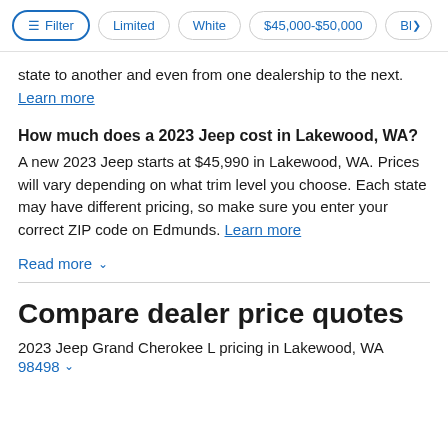[Figure (screenshot): Filter bar with pill buttons: Filter (active/blue border), Limited, White, $45,000-$50,000, Bl> (partially visible)]
state to another and even from one dealership to the next. Learn more
How much does a 2023 Jeep cost in Lakewood, WA?
A new 2023 Jeep starts at $45,990 in Lakewood, WA. Prices will vary depending on what trim level you choose. Each state may have different pricing, so make sure you enter your correct ZIP code on Edmunds. Learn more
Read more ∨
Compare dealer price quotes
2023 Jeep Grand Cherokee L pricing in Lakewood, WA
98498 ∨